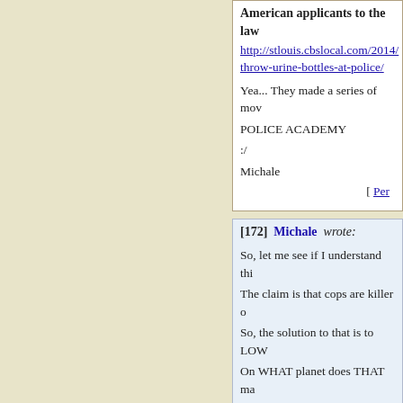American applicants to the law
http://stlouis.cbslocal.com/2014/ throw-urine-bottles-at-police/
Yea... They made a series of mov
POLICE ACADEMY
:/
Michale
[ Per
[172] Michale wrote:
So, let me see if I understand thi
The claim is that cops are killer o
So, the solution to that is to LOW
On WHAT planet does THAT ma
Michale
[ Per
[173] Michale wrote: